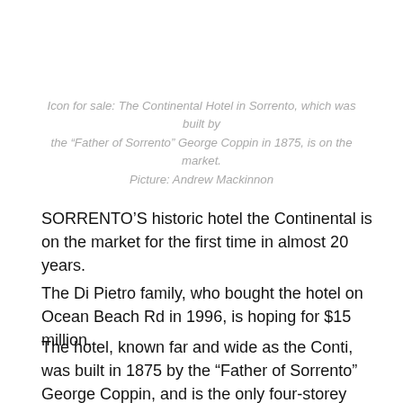Icon for sale: The Continental Hotel in Sorrento, which was built by the “Father of Sorrento” George Coppin in 1875, is on the market. Picture: Andrew Mackinnon
SORRENTO’S historic hotel the Continental is on the market for the first time in almost 20 years.
The Di Pietro family, who bought the hotel on Ocean Beach Rd in 1996, is hoping for $15 million.
The hotel, known far and wide as the Conti, was built in 1875 by the “Father of Sorrento” George Coppin, and is the only four-storey limestone structure in the southern hemisphere.